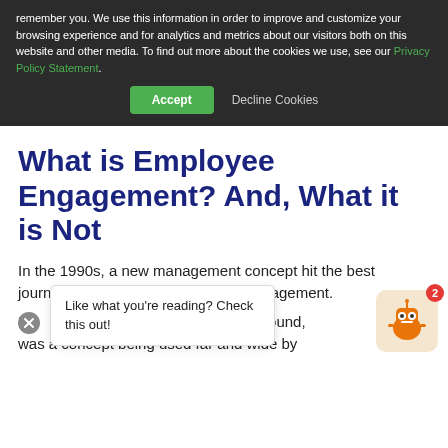remember you. We use this information in order to improve and customize your browsing experience and for analytics and metrics about our visitors both on this website and other media. To find out more about the cookies we use, see our Privacy Policy Statement.
Accept   Decline Cookies
What is Employee Engagement? And, What it is Not
In the 1990s, a new management concept hit the best journals in the industry: employee engagement.
Like what you're reading? Check this out!
By the 2000s, it had turned around, was a concept being used far and wide by